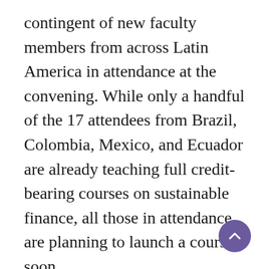contingent of new faculty members from across Latin America in attendance at the convening. While only a handful of the 17 attendees from Brazil, Colombia, Mexico, and Ecuador are already teaching full credit-bearing courses on sustainable finance, all those in attendance are planning to launch a course soon.
Global representation in the Consortium encourages the circulation of ideas across borders, helps grow the skill base in new markets, and adds expertise and